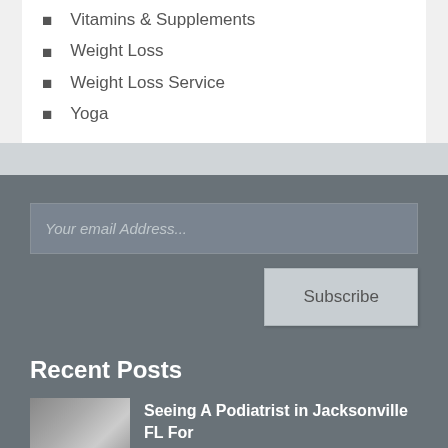Vitamins & Supplements
Weight Loss
Weight Loss Service
Yoga
Your email Address...
Subscribe
Recent Posts
Seeing A Podiatrist in Jacksonville FL For